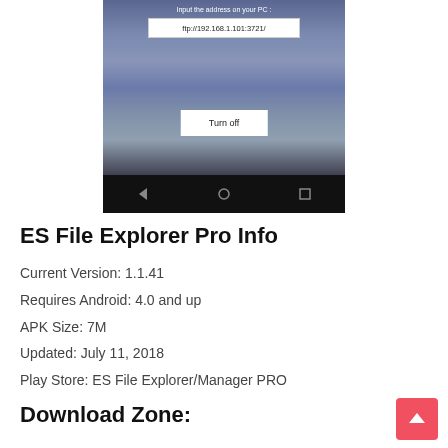[Figure (screenshot): Android app screenshot showing FTP server active with address ftp://192.168.1.101:3721/ and a Turn off button, with Android navigation bar at the bottom]
ES File Explorer Pro Info
Current Version: 1.1.41
Requires Android: 4.0 and up
APK Size: 7M
Updated: July 11, 2018
Play Store: ES File Explorer/Manager PRO
Download Zone: